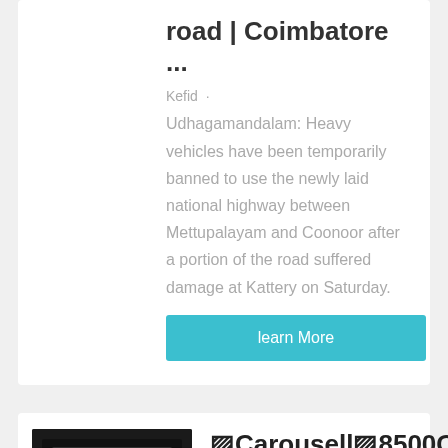road | Coimbatore ...
Kefid · Udhagamandalam: Heavy vehicles have been temporarily banned to use the newly laid national highway between Mettupalayam and Coonoor after a portion of the road suffered damage at Kattery on Saturday.
learn More
[Figure (photo): Underside of a vehicle, likely showing chassis/underbody components, dark background with vegetation visible]
🔲Carousell🔲8500C
Kefid ·
2018,Carousell4900,Carousell14🔲, Top3app 🔲